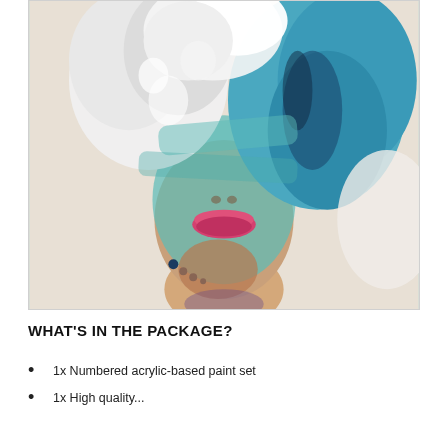[Figure (illustration): An expressive acrylic painting of a woman's face with vibrant blue, white, and teal paint strokes covering her hair and face, with pink lips visible. The painting has bold, dynamic brushwork.]
WHAT'S IN THE PACKAGE?
1x Numbered acrylic-based paint set
1x High quality...